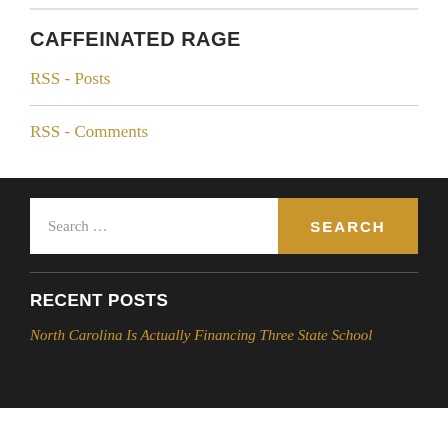CAFFEINATED RAGE
RSS - Posts
RSS - Comments
RECENT POSTS
North Carolina Is Actually Financing Three State School